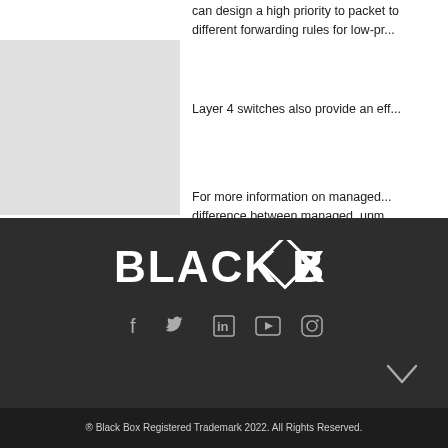can design a high priority to packet to different forwarding rules for low-pr...
Layer 4 switches also provide an eff...
For more information on managed... difference between managed, unm...
[Figure (logo): Black Box logo in white text on dark background, with a diamond shape replacing the letter O in BOX]
[Figure (infographic): Social media icons: Facebook, Twitter, LinkedIn, YouTube, Instagram in gray on dark background]
® Black Box Registered Trademark 2022. All Rights Reserved.